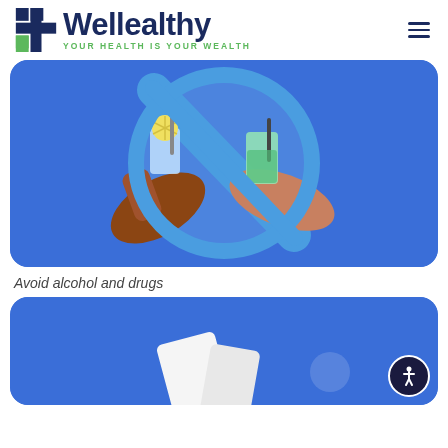Wellealthy — YOUR HEALTH IS YOUR WEALTH
[Figure (illustration): Illustration of two hands holding drinks (one with a lemon slice, one green) inside a blue circle with a diagonal 'no' slash symbol, indicating prohibition of alcohol/drugs, on a blue rounded rectangle background.]
Avoid alcohol and drugs
[Figure (illustration): Partial view of another blue rounded rectangle illustration, partially cut off at the bottom of the page, with an accessibility icon button in the lower right corner.]